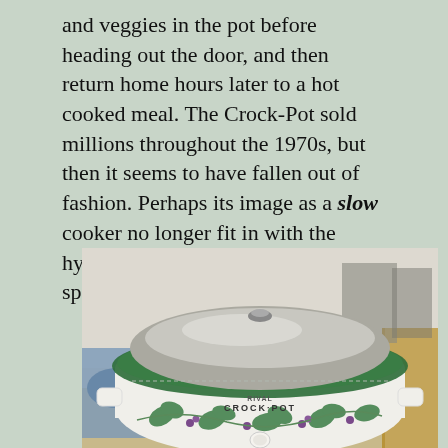and veggies in the pot before heading out the door, and then return home hours later to a hot cooked meal. The Crock-Pot sold millions throughout the 1970s, but then it seems to have fallen out of fashion. Perhaps its image as a slow cooker no longer fit in with the hyper-driven lifestyles of a newer, speed-obsessed generation.
[Figure (photo): A white Rival Crock-Pot slow cooker with green trim lid and green ivy/leaf decorative pattern around the base, sitting on a countertop.]